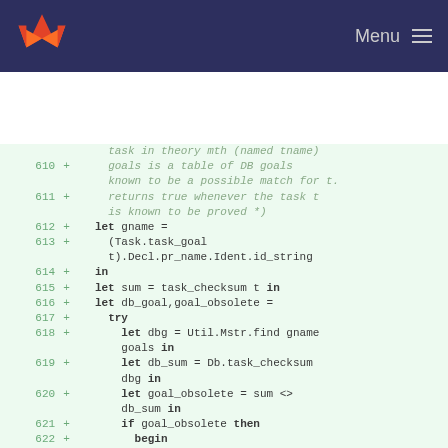Menu
[Figure (screenshot): Code diff view showing lines 610-622 of an OCaml source file with green added lines on a light green background. Lines contain comments and OCaml code including let bindings, try expressions, and if-then-begin constructs.]